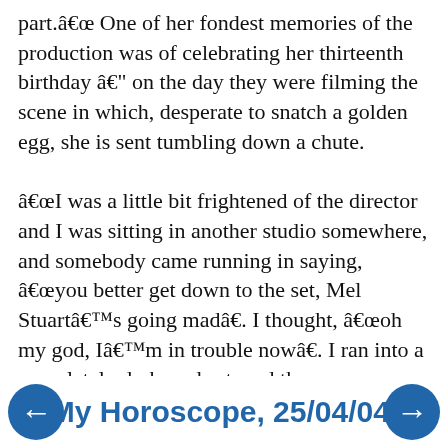part.â One of her fondest memories of the production was of celebrating her thirteenth birthday â on the day they were filming the scene in which, desperate to snatch a golden egg, she is sent tumbling down a chute.

âI was a little bit frightened of the director and I was sitting in another studio somewhere, and somebody came running in saying, âyou better get down to the set, Mel Stuartâs going madâ. I thought, âoh my god, Iâm in trouble nowâ. I ran into a completely darkened set, and there was a birthday cake there, and everybody was singing happy birthday. I blew the candles out and Mel said, âokay, right, now, on with the filming!â and that was it, they chucked me down the chute.â
My Horoscope, 25/04/04.